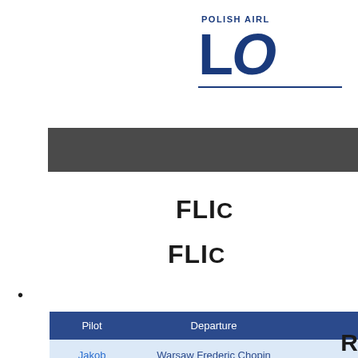[Figure (logo): LOT Polish Airlines logo — text 'POLISH AIRLINES' above large blue letters 'LO' with a dark blue underline]
FLI(GHT)
FLI(GHT)
| Pilot | Departure | (Arrival) |
| --- | --- | --- |
| Jakob Hermann | Warsaw Frederic Chopin Airport (EPWA) | Rzeszów... |